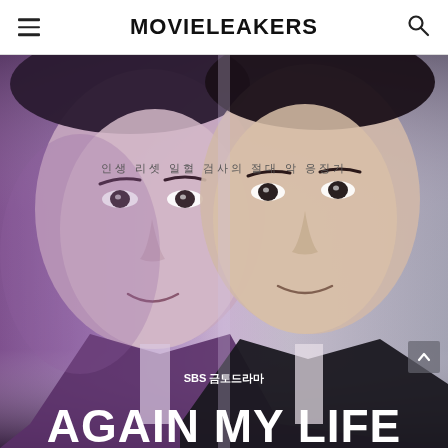MOVIELEAKERS
[Figure (photo): Korean drama 'Again My Life' promotional poster showing two male faces side by side — left face with purple/violet tones, right face with natural tones. Korean text reads: 인생 리셋 일혈 검사의 절대 악 응징기. Bottom text: SBS 금토드라마. Large title at bottom: AGAIN MY LIFE]
SBS 금토드라마 · AGAIN MY LIFE